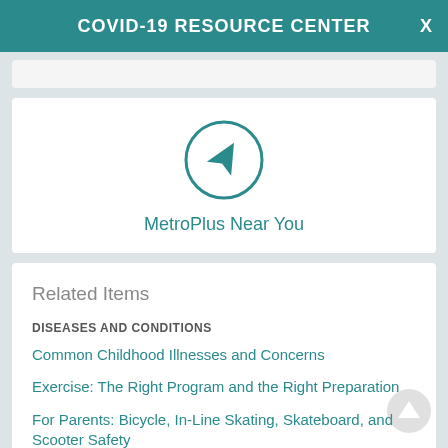COVID-19 RESOURCE CENTER
[Figure (illustration): Location/navigation icon — a circle with a map pointer arrow inside, teal colored]
MetroPlus Near You
Related Items
DISEASES AND CONDITIONS
Common Childhood Illnesses and Concerns
Exercise: The Right Program and the Right Preparation
For Parents: Bicycle, In-Line Skating, Skateboard, and Scooter Safety
View All 7